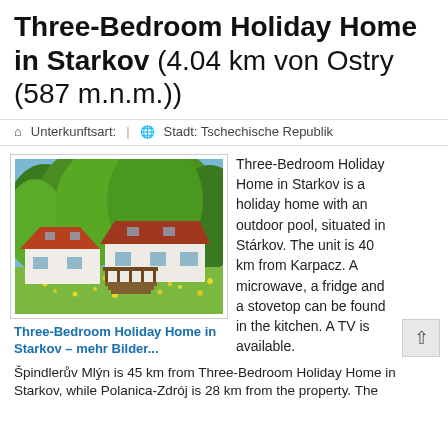Three-Bedroom Holiday Home in Starkov (4.04 km von Ostry (587 m.n.m.))
Unterkunftsart:  |  Stadt: Tschechische Republik
[Figure (photo): Exterior photo of a white holiday home with red/brown roof and wooden balcony, surrounded by green trees and yellow wildflower meadow]
Three-Bedroom Holiday Home in Starkov – mehr Bilder...
Three-Bedroom Holiday Home in Starkov is a holiday home with an outdoor pool, situated in Stárkov. The unit is 40 km from Karpacz. A microwave, a fridge and a stovetop can be found in the kitchen. A TV is available.
Špindlerův Mlýn is 45 km from Three-Bedroom Holiday Home in Starkov, while Polanica-Zdrój is 28 km from the property. The